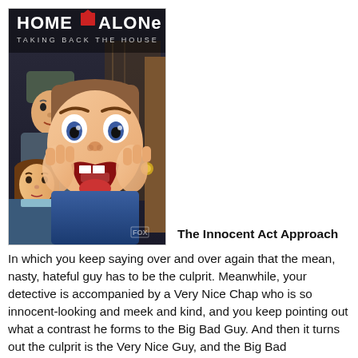[Figure (photo): Movie cover/poster for 'Home Alone: Taking Back the House' showing a surprised young boy with hands on cheeks and two other characters in the background]
The Innocent Act Approach
In which you keep saying over and over again that the mean, nasty, hateful guy has to be the culprit. Meanwhile, your detective is accompanied by a Very Nice Chap who is so innocent-looking and meek and kind, and you keep pointing out what a contrast he forms to the Big Bad Guy. And then it turns out the culprit is the Very Nice Guy, and the Big Bad